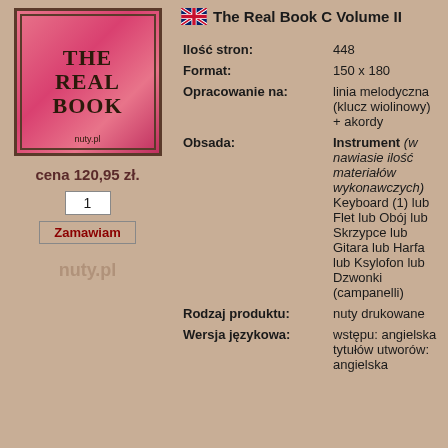[Figure (illustration): Pink book cover of 'The Real Book' with dark border and ornamental frame, title in bold black text]
cena 120,95 zł.
1
Zamawiam
nuty.pl
The Real Book C Volume II
| Ilość stron: | 448 |
| Format: | 150 x 180 |
| Opracowanie na: | linia melodyczna (klucz wiolinowy) + akordy |
| Obsada: | Instrument (w nawiasie ilość materiałów wykonawczych) Keyboard (1) lub Flet lub Obój lub Skrzypce lub Gitara lub Harfa lub Ksylofon lub Dzwonki (campanelli) |
| Rodzaj produktu: | nuty drukowane |
| Wersja językowa: | wstępu: angielska tytułów utworów: angielska |